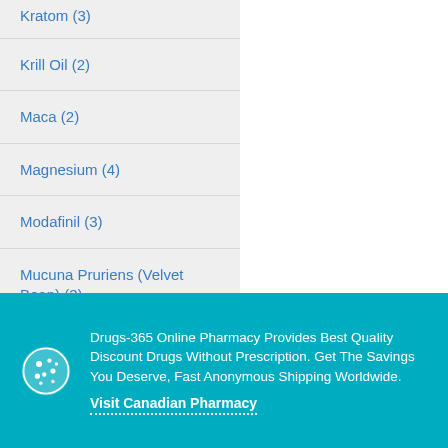Kratom (3)
Krill Oil (2)
Maca (2)
Magnesium (4)
Modafinil (3)
Mucuna Pruriens (Velvet Bean) (3)
Muira Puama (3)
Drugs-365 Online Pharmacy Provides Best Quality Discount Drugs Without Prescription. Get The Savings You Deserve, Fast Anonymous Shipping Worldwide.
Visit Canadian Pharmacy